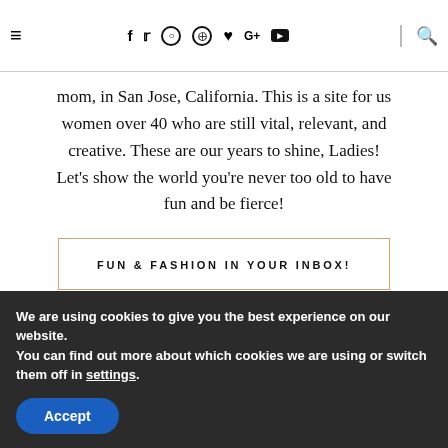≡  f  t  ○  ⊕  ♥  G+  ▶  🔍
mom, in San Jose, California. This is a site for us women over 40 who are still vital, relevant, and creative. These are our years to shine, Ladies! Let's show the world you're never too old to have fun and be fierce!
FUN & FASHION IN YOUR INBOX!
First Name
We are using cookies to give you the best experience on our website.
You can find out more about which cookies we are using or switch them off in settings.
Accept